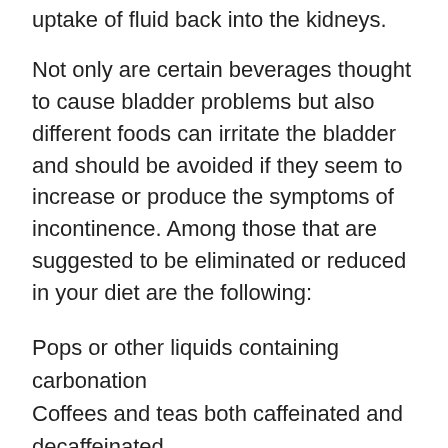uptake of fluid back into the kidneys.
Not only are certain beverages thought to cause bladder problems but also different foods can irritate the bladder and should be avoided if they seem to increase or produce the symptoms of incontinence. Among those that are suggested to be eliminated or reduced in your diet are the following:
Pops or other liquids containing carbonation
Coffees and teas both caffeinated and decaffeinated
Milk or products made from milk
Citrus fruits and their juices
Tomatoes and the products made from tomatoes